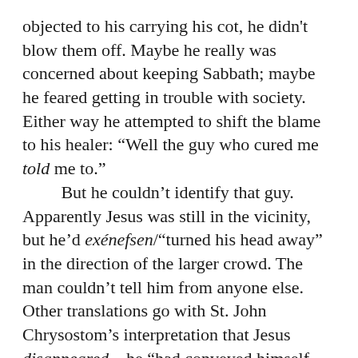objected to his carrying his cot, he didn't blow them off. Maybe he really was concerned about keeping Sabbath; maybe he feared getting in trouble with society. Either way he attempted to shift the blame to his healer: "Well the guy who cured me told me to."

But he couldn't identify that guy. Apparently Jesus was still in the vicinity, but he'd exénefsen/"turned his head away" in the direction of the larger crowd. The man couldn't tell him from anyone else. Other translations go with St. John Chrysostom's interpretation that Jesus disappeared—he "had conveyed himself away." [Jn 5.13 KJV] Me, I figure Jesus was off curing other sick people at the pool. John only mentions this one guy